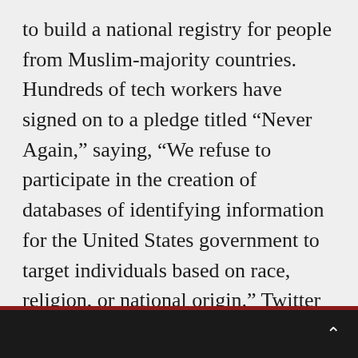to build a national registry for people from Muslim-majority countries. Hundreds of tech workers have signed on to a pledge titled “Never Again,” saying, “We refuse to participate in the creation of databases of identifying information for the United States government to target individuals based on race, religion, or national origin.” Twitter became the first major tech company to say it would not participate in the creation of such a database. Facebook has also said it would not help Trump. For more, we speak with California Democratic
⌃